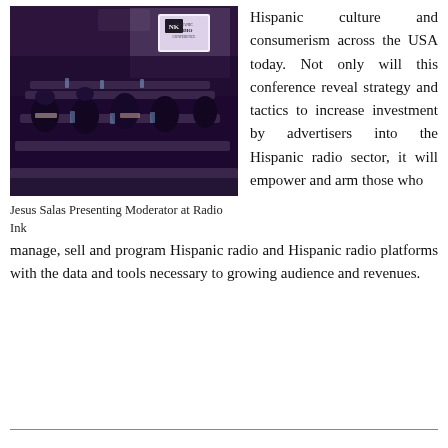[Figure (photo): Conference room photo showing Jesus Salas presenting as moderator at Radio Ink Hispanic Radio Conference. Attendees seated at tables with glasses and materials, speaker at front near screen with NK Hispanic Radio Conference logo.]
Jesus Salas Presenting Moderator at Radio Ink
Hispanic culture and consumerism across the USA today. Not only will this conference reveal strategy and tactics to increase investment by advertisers into the Hispanic radio sector, it will empower and arm those who manage, sell and program Hispanic radio and Hispanic radio platforms with the data and tools necessary to growing audience and revenues.